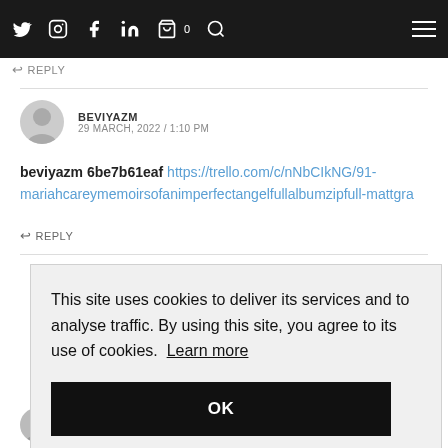Social media icons navigation bar
← REPLY
BEVIYAZM
29 MARCH, 2022 / 1:10 PM
beviyazm 6be7b61eaf https://trello.com/c/nNbCIkNG/91-mariahcareymemoirsofanimperfectangelfullalbumzipfull-mattgra
← REPLY
This site uses cookies to deliver its services and to analyse traffic. By using this site, you agree to its use of cookies. Learn more
OK
30 MARCH, 2022 / 10:25 AM